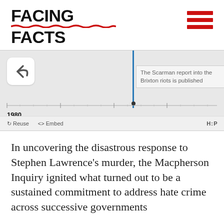FACING FACTS
[Figure (infographic): Interactive timeline showing a back navigation button, a blue vertical marker line at approximately 1981.5, a tooltip box reading 'The Scarman report into the Brixton riots is published', a horizontal ruler with tick marks, and year labels 1980, 1981, 1982, 1983. Below the timeline are Reuse, Embed, and H:P controls.]
In uncovering the disastrous response to Stephen Lawrence's murder, the Macpherson Inquiry ignited what turned out to be a sustained commitment to address hate crime across successive governments